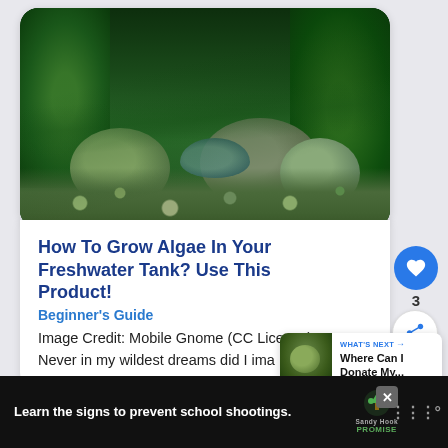[Figure (photo): Freshwater aquarium tank with green algae covering rocks and decorations, small fish visible among algae-covered stones and pebbles]
How To Grow Algae In Your Freshwater Tank? Use This Product!
Beginner's Guide
Image Credit: Mobile Gnome (CC License) Never in my wildest dreams did I imagine that I'd be answering this question, but here we are. So, how to grow algae...
[Figure (photo): Small 'What's Next' card with thumbnail image showing a green plant/rock and text: Where Can I Donate My...]
[Figure (other): Advertisement banner: Learn the signs to prevent school shootings. Sandy Hook Promise logo with tree icon.]